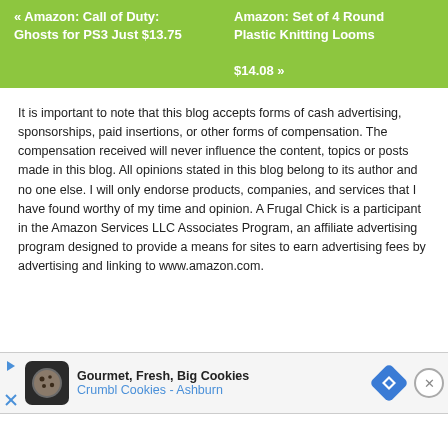[Figure (other): Green banner with two product links: left column '« Amazon: Call of Duty: Ghosts for PS3 Just $13.75', right column 'Amazon: Set of 4 Round Plastic Knitting Looms $14.08 »' on a lime green background with white text.]
It is important to note that this blog accepts forms of cash advertising, sponsorships, paid insertions, or other forms of compensation. The compensation received will never influence the content, topics or posts made in this blog. All opinions stated in this blog belong to its author and no one else. I will only endorse products, companies, and services that I have found worthy of my time and opinion. A Frugal Chick is a participant in the Amazon Services LLC Associates Program, an affiliate advertising program designed to provide a means for sites to earn advertising fees by advertising and linking to www.amazon.com.
[Figure (screenshot): Advertisement bar at the bottom showing 'Gourmet, Fresh, Big Cookies Crumbl Cookies - Ashburn' with a cookie mascot icon and a blue diamond navigation logo. A close (X) button appears on the right.]